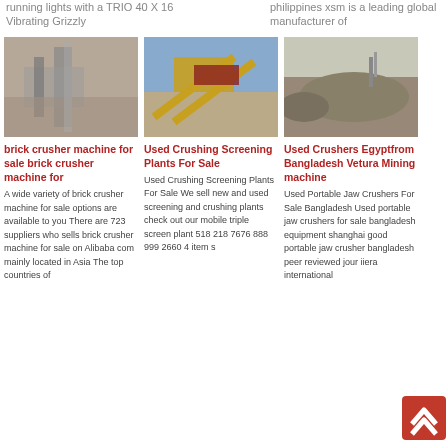running lights with a TRIO 40 X 16 Vibrating Grizzly
philippines xsm is a leading global manufacturer of
[Figure (photo): Industrial brick crusher machine in operation at a facility]
[Figure (photo): Used crushing and screening plant with yellow conveyor belts outdoors]
[Figure (photo): Outdoor quarry or mining site with machinery and gravel piles]
brick crusher machine for sale brick crusher machine for
Used Crushing Screening Plants For Sale
Used Crushers Egyptfrom Bangladesh Vetura Mining machine
A wide variety of brick crusher machine for sale options are available to you There are 723 suppliers who sells brick crusher machine for sale on Alibaba com mainly located in Asia The top countries of
Used Crushing Screening Plants For Sale We sell new and used screening and crushing plants check out our mobile triple screen plant 518 218 7676 888 999 2660 4 item s
Used Portable Jaw Crushers For Sale Bangladesh Used portable jaw crushers for sale bangladesh equipment shanghai good portable jaw crusher bangladesh peer reviewed jour iiera international